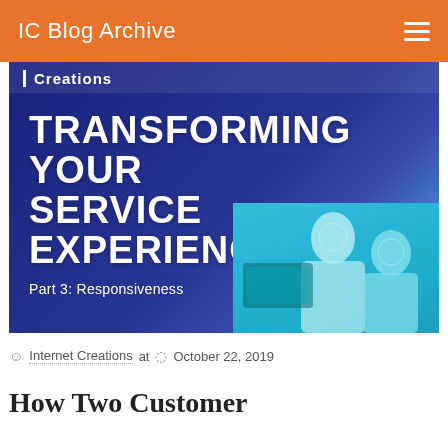IC Blog Archive
[Figure (illustration): Blog post header image showing 'TRANSFORMING YOUR SERVICE EXPERIENCE Part 3: Responsiveness' text on a dark blue/navy background, with a cyan-tinted photo of two people (man and woman) looking at a computer screen. The Creations logo appears in the top-left corner of the image.]
Internet Creations at October 22, 2019
How Two Customer